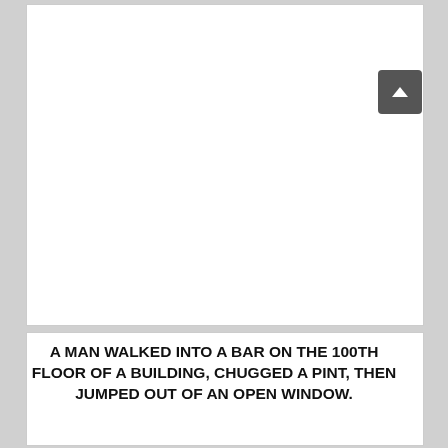[Figure (other): Large white blank rectangle at top of page]
A MAN WALKED INTO A BAR ON THE 100TH FLOOR OF A BUILDING, CHUGGED A PINT, THEN JUMPED OUT OF AN OPEN WINDOW.